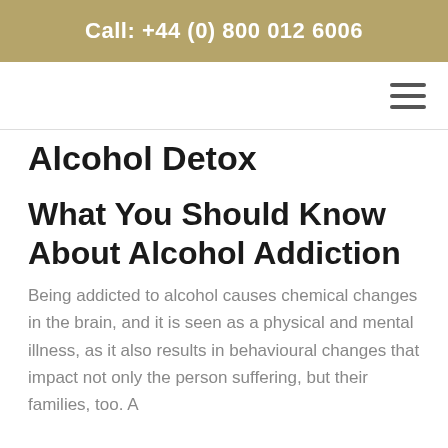Call: +44 (0) 800 012 6006
Alcohol Detox
What You Should Know About Alcohol Addiction
Being addicted to alcohol causes chemical changes in the brain, and it is seen as a physical and mental illness, as it also results in behavioural changes that impact not only the person suffering, but their families, too. A